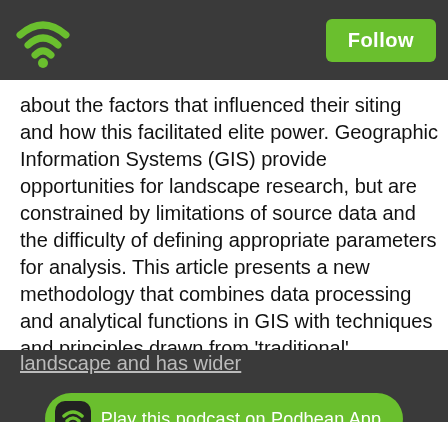[Figure (screenshot): Podbean podcast app interface showing a wifi/podcast icon logo on the top left and a green Follow button on the top right, in a dark grey header bar.]
about the factors that influenced their siting and how this facilitated elite power. Geographic Information Systems (GIS) provide opportunities for landscape research, but are constrained by limitations of source data and the difficulty of defining appropriate parameters for analysis. This article presents a new methodology that combines data processing and analytical functions in GIS with techniques and principles drawn from 'traditional' landscape archaeology. A case study, focused on Dinas Powys, suggests that the strategic siting of this hillfort facilitated control over the landscape and has wider
[Figure (screenshot): Green rounded button at the bottom of the screen with a small black wifi/podcast icon on the left and the text 'Play this podcast on Podbean App' in white.]